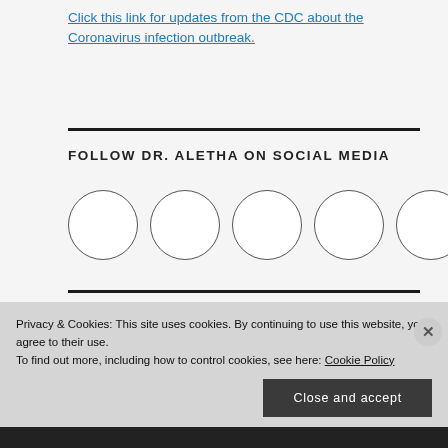Click this link for updates from the CDC about the Coronavirus infection outbreak.
FOLLOW DR. ALETHA ON SOCIAL MEDIA
[Figure (illustration): Five empty white circles representing social media icon placeholders arranged in a horizontal row]
Privacy & Cookies: This site uses cookies. By continuing to use this website, you agree to their use. To find out more, including how to control cookies, see here: Cookie Policy
Close and accept